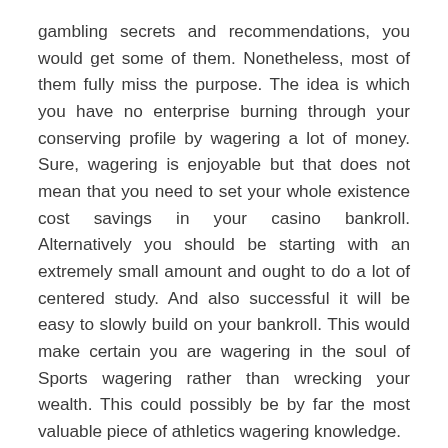gambling secrets and recommendations, you would get some of them. Nonetheless, most of them fully miss the purpose. The idea is which you have no enterprise burning through your conserving profile by wagering a lot of money. Sure, wagering is enjoyable but that does not mean that you need to set your whole existence cost savings in your casino bankroll. Alternatively you should be starting with an extremely small amount and ought to do a lot of centered study. And also successful it will be easy to slowly build on your bankroll. This would make certain you are wagering in the soul of Sports wagering rather than wrecking your wealth. This could possibly be by far the most valuable piece of athletics wagering knowledge.
Second of all, you should never be undertaking